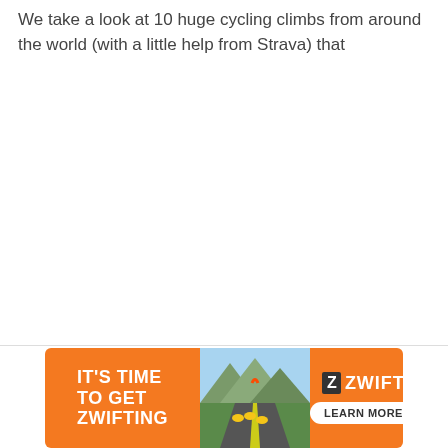We take a look at 10 huge cycling climbs from around the world (with a little help from Strava) that
[Figure (infographic): Zwift advertisement banner. Orange background on left with white bold text 'IT'S TIME TO GET ZWIFTING', center shows photo of cyclists riding on a mountain road, right side orange with Zwift logo and 'LEARN MORE' button in white rounded rectangle.]